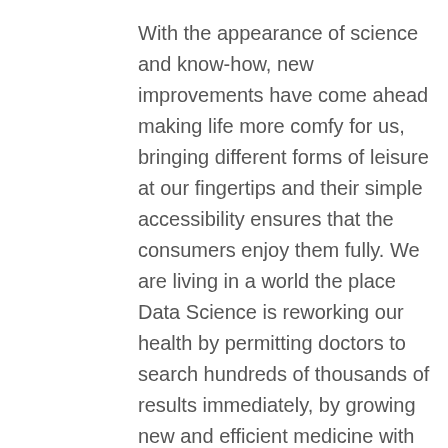With the appearance of science and know-how, new improvements have come ahead making life more comfy for us, bringing different forms of leisure at our fingertips and their simple accessibility ensures that the consumers enjoy them fully. We are living in a world the place Data Science is reworking our health by permitting doctors to search hundreds of thousands of results immediately, by growing new and efficient medicine with great velocity, and by predicting ailments prematurely before it even happens.